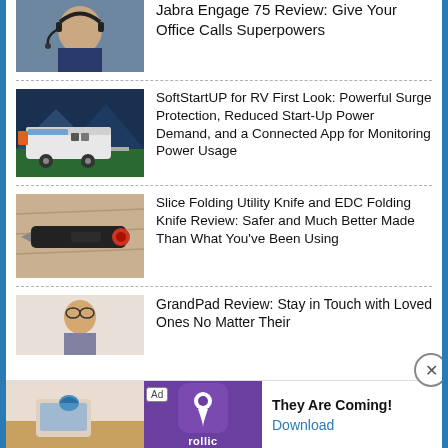[Figure (photo): Man wearing a headset, blue jacket, smiling, office environment]
Jabra Engage 75 Review: Give Your Office Calls Superpowers
[Figure (photo): RV trailer with solar/power system infographic on dark blue background]
SoftStartUP for RV First Look: Powerful Surge Protection, Reduced Start-Up Power Demand, and a Connected App for Monitoring Power Usage
[Figure (photo): Slice folding utility knife on sandy/wooden surface]
Slice Folding Utility Knife and EDC Folding Knife Review: Safer and Much Better Made Than What You've Been Using
[Figure (photo): Elderly person with glasses, GrandPad review article thumbnail]
GrandPad Review: Stay in Touch with Loved Ones No Matter Their
[Figure (screenshot): Advertisement banner: Rollic game 'They Are Coming!' with Download button]